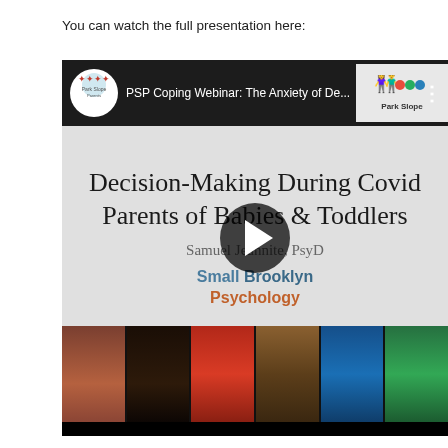You can watch the full presentation here:
[Figure (screenshot): Embedded YouTube video thumbnail showing a PSP Coping Webinar titled 'PSP Coping Webinar: The Anxiety of De...' with a video still showing 'Decision-Making During Covid Parents of Babies & Toddlers' by Samuel Jeannite, PsyD of Small Brooklyn Psychology. A large play button is visible in the center. Below is a photo strip of six presenters.]